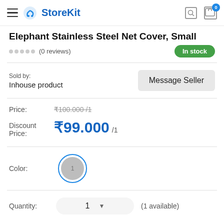StoreKit
Elephant Stainless Steel Net Cover, Small
(0 reviews) In stock
Sold by: Inhouse product
Price: ₹100.000 /1
Discount Price: ₹99.000 /1
Color: 1
Quantity: 1 (1 available)